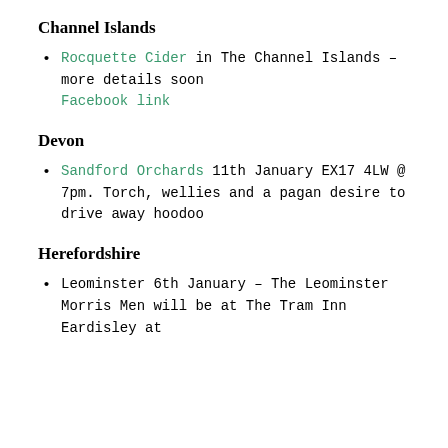Channel Islands
Rocquette Cider in The Channel Islands – more details soon Facebook link
Devon
Sandford Orchards 11th January EX17 4LW @ 7pm. Torch, wellies and a pagan desire to drive away hoodoo
Herefordshire
Leominster 6th January – The Leominster Morris Men will be at The Tram Inn Eardisley at